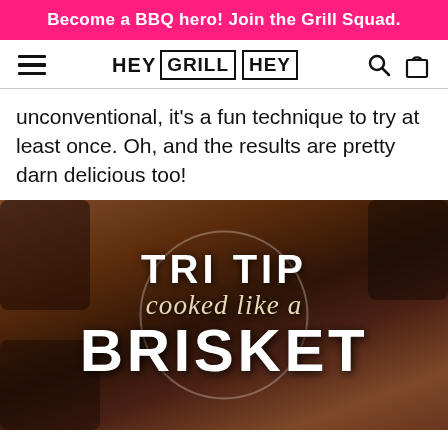Become a BBQ hero! Join the Grill Squad.
[Figure (logo): Hey Grill Hey logo with hamburger menu icon, search icon, and shopping bag icon in navigation bar]
unconventional, it's a fun technique to try at least once. Oh, and the results are pretty darn delicious too!
[Figure (photo): Hero image of tri tip brisket on branded butcher paper with text overlay reading 'TRI TIP cooked like a BRISKET' with a circular design element]